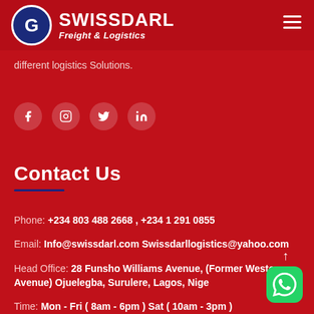SWISSDARL Freight & Logistics
different logistics Solutions.
[Figure (other): Social media icons: Facebook, Instagram, Twitter, LinkedIn]
Contact Us
Phone: +234 803 488 2668 , +234 1 291 0855
Email: Info@swissdarl.com Swissdarllogistics@yahoo.com
Head Office: 28 Funsho Williams Avenue, (Former Western Avenue) Ojuelegba, Surulere, Lagos, Nige
Time: Mon - Fri ( 8am - 6pm ) Sat ( 10am - 3pm )